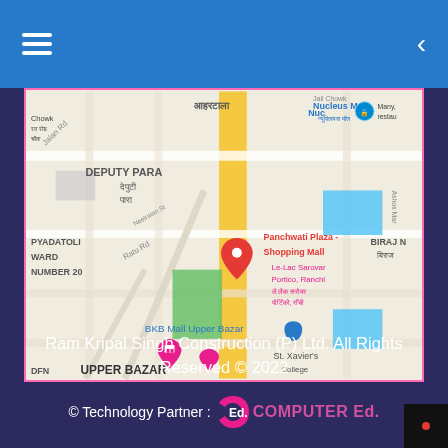Navigation header with hamburger menu and back arrow
[Figure (map): Google Maps screenshot showing Upper Bazar area in Ranchi. Shows landmarks including Deputy Para, Panchwati Plaza Shopping Mall, Le-Lac Sarovar Portico Ranchi, BKB Mall Upper Bazar, St. Xavier's College, Nucleus Mall, Ward Number 20, and street names including Ratu Rd, Jalan Rd, Ashok Marg. A red location pin is visible near Panchwati Plaza.]
Ram Kripal Singh Construction (P) Ltd. All Rights Reserved © 2022
© Technology Partner : COMPUTER Ed.